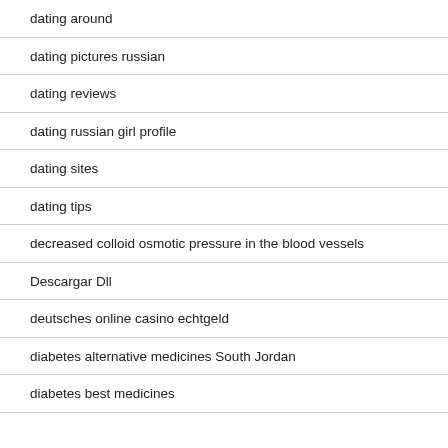dating around
dating pictures russian
dating reviews
dating russian girl profile
dating sites
dating tips
decreased colloid osmotic pressure in the blood vessels
Descargar Dll
deutsches online casino echtgeld
diabetes alternative medicines South Jordan
diabetes best medicines